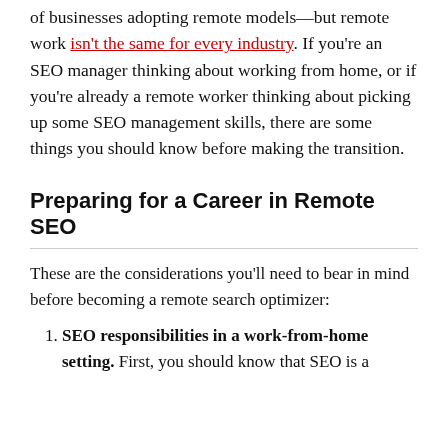of businesses adopting remote models—but remote work isn't the same for every industry. If you're an SEO manager thinking about working from home, or if you're already a remote worker thinking about picking up some SEO management skills, there are some things you should know before making the transition.
Preparing for a Career in Remote SEO
These are the considerations you'll need to bear in mind before becoming a remote search optimizer:
SEO responsibilities in a work-from-home setting. First, you should know that SEO is a